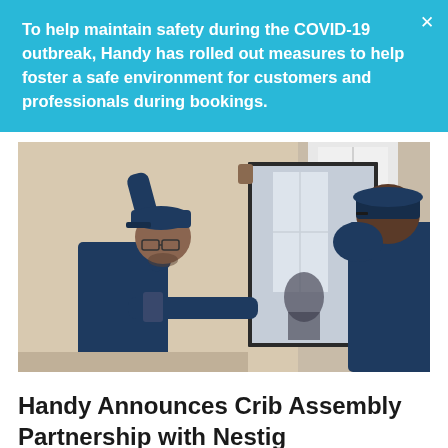To help maintain safety during the COVID-19 outbreak, Handy has rolled out measures to help foster a safe environment for customers and professionals during bookings.
[Figure (photo): Two workers in dark navy blue uniforms and caps hanging or adjusting a large mirror on a wall. The worker on the left wears glasses and a baseball cap, reaching up to position the mirror. The worker on the right is seen from behind.]
Handy Announces Crib Assembly Partnership with Nestig